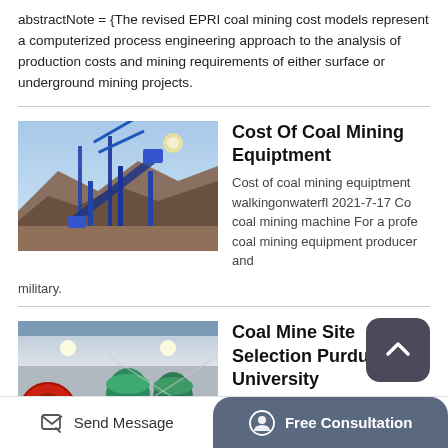abstractNote = {The revised EPRI coal mining cost models represent a computerized process engineering approach to the analysis of production costs and mining requirements of either surface or underground mining projects.
Cost Of Coal Mining Equiptment
Cost of coal mining equiptment walkingonwaterfl 2021-7-17 Co coal mining machine For a profe coal mining equipment producer and military.
[Figure (photo): Industrial coal mining facility with conveyor systems and blue steel framework against rocky terrain]
Coal Mine Site Selection Purdue University
[Figure (photo): Underground coal mining equipment with large yellow and red machinery in a dimly lit industrial setting]
Send Message
Free Consultation